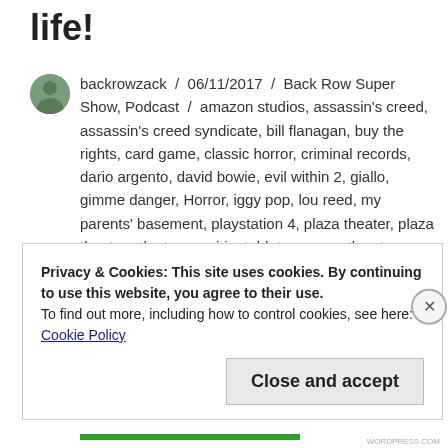life!
backrowzack / 06/11/2017 / Back Row Super Show, Podcast / amazon studios, assassin's creed, assassin's creed syndicate, bill flanagan, buy the rights, card game, classic horror, criminal records, dario argento, david bowie, evil within 2, giallo, gimme danger, Horror, iggy pop, lou reed, my parents' basement, playstation 4, plaza theater, plaza theater atlanta, suspiria, tabletop game, the stooges, transformer, u2, u2 at the end of the world, walk on the wild side / Leave a comment
Privacy & Cookies: This site uses cookies. By continuing to use this website, you agree to their use.
To find out more, including how to control cookies, see here:
Cookie Policy
Close and accept